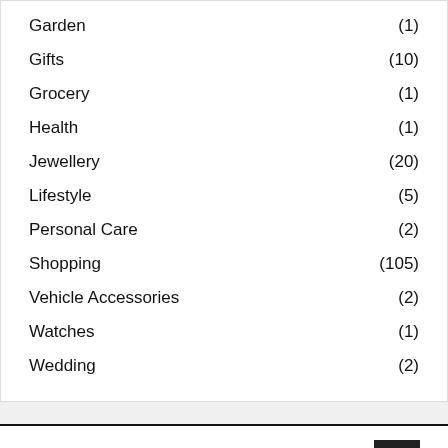Garden (1)
Gifts (10)
Grocery (1)
Health (1)
Jewellery (20)
Lifestyle (5)
Personal Care (2)
Shopping (105)
Vehicle Accessories (2)
Watches (1)
Wedding (2)
RECENT VIDEOS